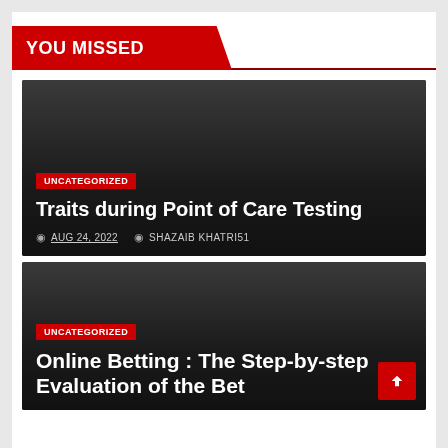YOU MISSED
[Figure (other): Dark blog post card with category badge, title, and meta information]
UNCATEGORIZED
Traits during Point of Care Testing
AUG 24, 2022   SHAZAIB KHATRI51
[Figure (other): Dark blog post card with category badge and title]
UNCATEGORIZED
Online Betting : The Step-by-step Evaluation of the Bet